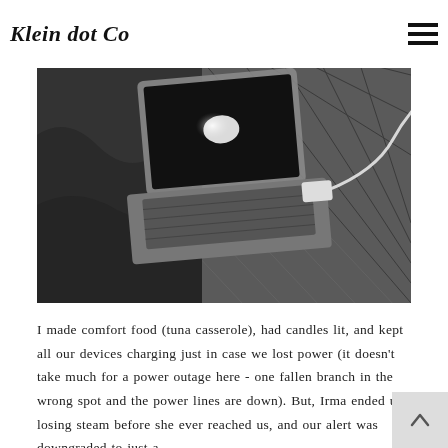Klein dot Co
[Figure (photo): Black and white photo of an Apple MacBook laptop on a quilted bed with a charging cable visible]
I made comfort food (tuna casserole), had candles lit, and kept all our devices charging just in case we lost power (it doesn't take much for a power outage here - one fallen branch in the wrong spot and the power lines are down). But, Irma ended up losing steam before she ever reached us, and our alert was downgraded to just a